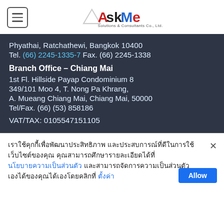[Figure (logo): AskMe Solutions & Consultants Co., Ltd. logo with hamburger menu icon]
Phyathai, Ratchathewi, Bangkok 10400
Tel. (66) 2245-1335-7  Fax. (66) 2245-1338
Branch Office – Chiang Mai
1st Fl. Hillside Payap Condominium 8
349/101 Moo 4, T. Nong Pa Khrang,
A. Mueang Chiang Mai, Chiang Mai, 50000
Tel/Fax. (66) (53) 858186
VAT/TAX: 0105547151105
เราใช้คุกกี้เพื่อพัฒนาประสิทธิภาพ และประสบการณ์ที่ดีในการใช้เว็บไซต์ของคุณ คุณสามารถศึกษารายละเอียดได้ที่ นโยบายความเป็นส่วนตัว และสามารถจัดการความเป็นส่วนตัวเองได้ของคุณได้เองโดยคลิกที่ ตั้งค่า